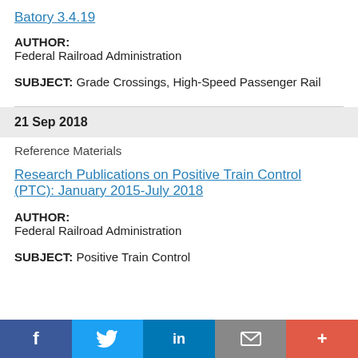Batory 3.4.19
AUTHOR:
Federal Railroad Administration
SUBJECT: Grade Crossings, High-Speed Passenger Rail
21 Sep 2018
Reference Materials
Research Publications on Positive Train Control (PTC): January 2015-July 2018
AUTHOR:
Federal Railroad Administration
SUBJECT: Positive Train Control